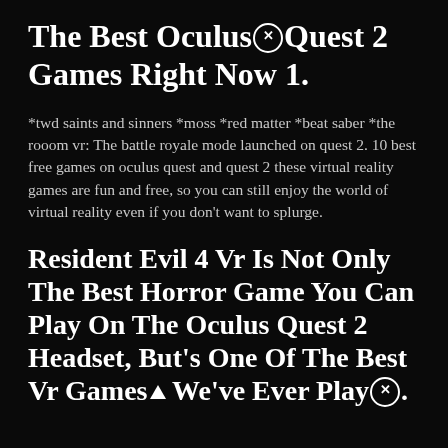The Best Oculus Quest 2 Games Right Now 1.
*twd saints and sinners *moss *red matter *beat saber *the rooom vr: The battle royale mode launched on quest 2. 10 best free games on oculus quest and quest 2 these virtual reality games are fun and free, so you can still enjoy the world of virtual reality even if you don't want to splurge.
Resident Evil 4 Vr Is Not Only The Best Horror Game You Can Play On The Oculus Quest 2 Headset, But's One Of The Best Vr Games We've Ever Playⓧ.